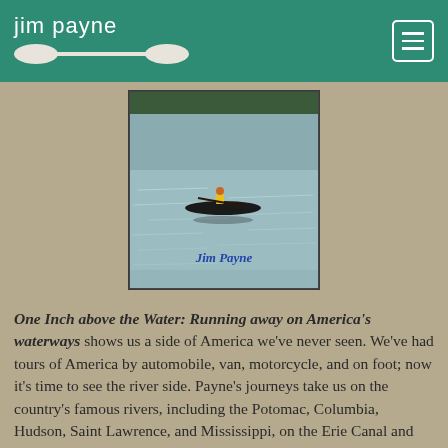jim payne
[Figure (photo): Book cover photo showing a person in a canoe on a calm water surface, with 'Jim Payne' text at the bottom of the image.]
One Inch above the Water: Running away on America's waterways shows us a side of America we've never seen. We've had tours of America by automobile, van, motorcycle, and on foot; now it's time to see the river side. Payne's journeys take us on the country's famous rivers, including the Potomac, Columbia, Hudson, Saint Lawrence, and Mississippi, on the Erie Canal and Lake Champlain, and on the Atlantic Ocean along the Florida Keys. The memoir also details the